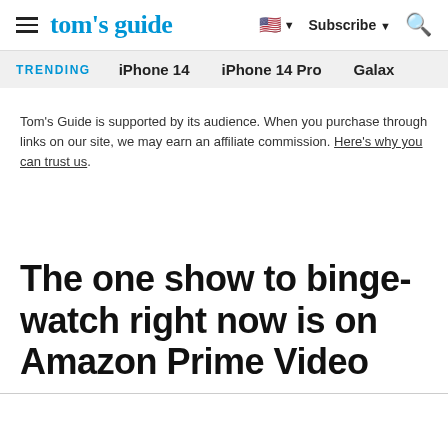tom's guide — Subscribe — Search
TRENDING  iPhone 14  iPhone 14 Pro  Galaxy
Tom's Guide is supported by its audience. When you purchase through links on our site, we may earn an affiliate commission. Here's why you can trust us.
The one show to binge-watch right now is on Amazon Prime Video